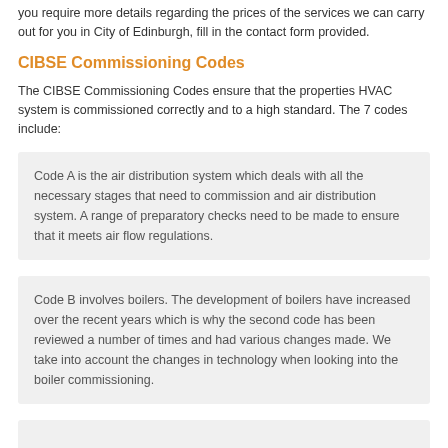you require more details regarding the prices of the services we can carry out for you in City of Edinburgh, fill in the contact form provided.
CIBSE Commissioning Codes
The CIBSE Commissioning Codes ensure that the properties HVAC system is commissioned correctly and to a high standard. The 7 codes include:
Code A is the air distribution system which deals with all the necessary stages that need to commission and air distribution system. A range of preparatory checks need to be made to ensure that it meets air flow regulations.
Code B involves boilers. The development of boilers have increased over the recent years which is why the second code has been reviewed a number of times and had various changes made. We take into account the changes in technology when looking into the boiler commissioning.